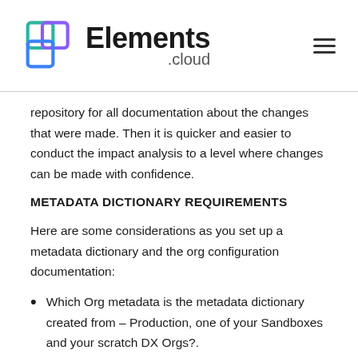Elements.cloud
repository for all documentation about the changes that were made. Then it is quicker and easier to conduct the impact analysis to a level where changes can be made with confidence.
METADATA DICTIONARY REQUIREMENTS
Here are some considerations as you set up a metadata dictionary and the org configuration documentation:
Which Org metadata is the metadata dictionary created from – Production, one of your Sandboxes and your scratch DX Orgs?.